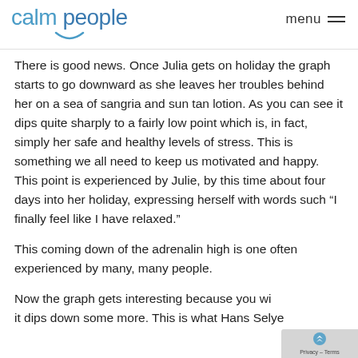calm people  menu
There is good news. Once Julia gets on holiday the graph starts to go downward as she leaves her troubles behind her on a sea of sangria and sun tan lotion. As you can see it dips quite sharply to a fairly low point which is, in fact, simply her safe and healthy levels of stress. This is something we all need to keep us motivated and happy. This point is experienced by Julie, by this time about four days into her holiday, expressing herself with words such “I finally feel like I have relaxed.”
This coming down of the adrenalin high is one often experienced by many, many people.
Now the graph gets interesting because you wi… it dips down some more. This is what Hans Selye…